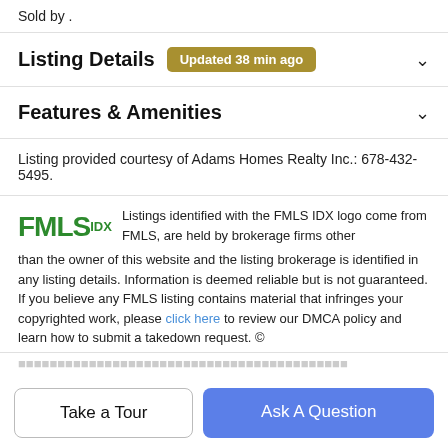Sold by .
Listing Details   Updated 38 min ago
Features & Amenities
Listing provided courtesy of Adams Homes Realty Inc.: 678-432-5495.
Listings identified with the FMLS IDX logo come from FMLS, are held by brokerage firms other than the owner of this website and the listing brokerage is identified in any listing details. Information is deemed reliable but is not guaranteed. If you believe any FMLS listing contains material that infringes your copyrighted work, please click here to review our DMCA policy and learn how to submit a takedown request. ©
Take a Tour
Ask A Question